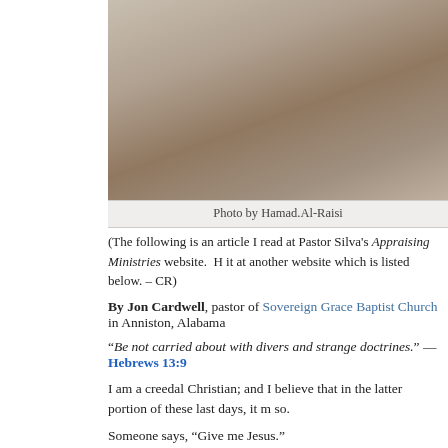[Figure (photo): Cropped photo showing what appears to be a decorative or artistic image, partially visible at the top of the page]
Photo by Hamad.Al-Raisi
(The following is an article I read at Pastor Silva's Appraising Ministries website.  H it at another website which is listed below. – CR)
By Jon Cardwell, pastor of Sovereign Grace Baptist Church in Anniston, Alabama
“Be not carried about with divers and strange doctrines.” —Hebrews 13:9
I am a creedal Christian; and I believe that in the latter portion of these last days, it m so.
Someone says, “Give me Jesus.”
I must ask, “Which one?”
Someone says, “I follow Christ?”
I must ask, “To whom do you refer?”
Someone says, “I believe the Bible.”
I must quote the Old Book and reply, “Thou doest well: the devils believe, and tremble.” Many Unitarians, for example, say they believe the Bible, but the denom